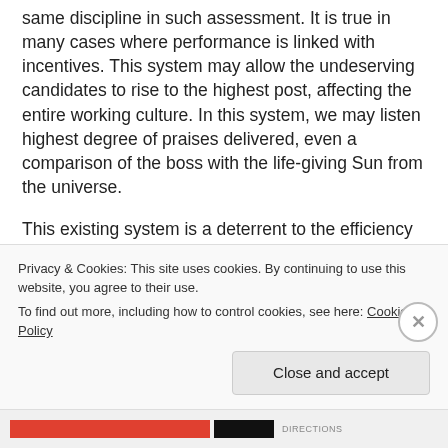same discipline in such assessment. It is true in many cases where performance is linked with incentives. This system may allow the undeserving candidates to rise to the highest post, affecting the entire working culture. In this system, we may listen highest degree of praises delivered, even a comparison of the boss with the life-giving Sun from the universe.
This existing system is a deterrent to the efficiency and promotion of real, technically sound, good and honest workers and also affects the growth and achievements of the company. Negativity in the official atmosphere pervades and detaches from work. This, in turn, changes the working culture of devoted, enthusiastic, energetic
Privacy & Cookies: This site uses cookies. By continuing to use this website, you agree to their use.
To find out more, including how to control cookies, see here: Cookie Policy
Close and accept